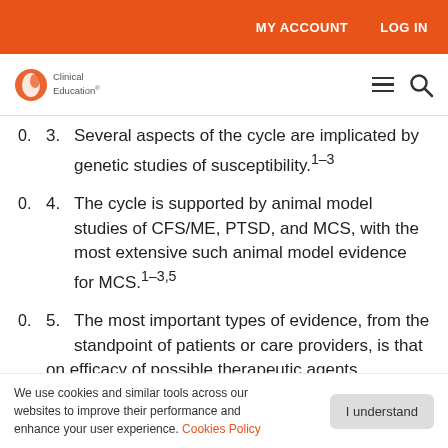MY ACCOUNT   LOG IN
[Figure (logo): Clinical Education logo with orange circle icon and text]
Several aspects of the cycle are implicated by genetic studies of susceptibility.1-3
The cycle is supported by animal model studies of CFS/ME, PTSD, and MCS, with the most extensive such animal model evidence for MCS.1-3,5
The most important types of evidence, from the standpoint of patients or care providers, is that on efficacy of possible therapeutic agents
We use cookies and similar tools across our websites to improve their performance and enhance your user experience. Cookies Policy